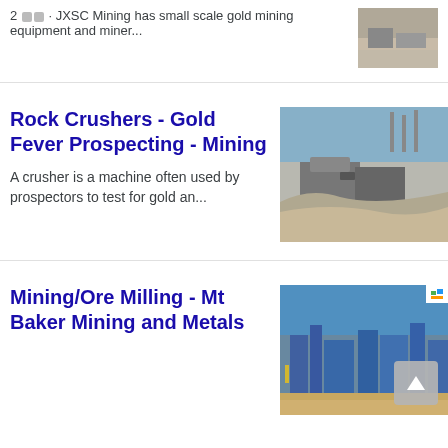2 ■■ · JXSC Mining has small scale gold mining equipment and miner...
[Figure (photo): Partial image of mining equipment, cropped at top]
Rock Crushers - Gold Fever Prospecting - Mining
[Figure (photo): Outdoor rock crusher facility with industrial equipment and gravel piles under blue sky]
A crusher is a machine often used by prospectors to test for gold an...
Mining/Ore Milling - Mt Baker Mining and Metals
[Figure (photo): Industrial mining and milling facility with blue metal structures and equipment under blue sky]